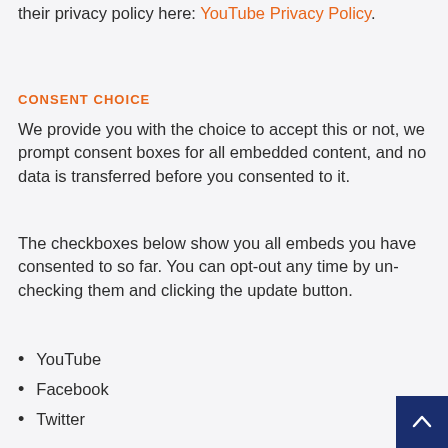their privacy policy here: YouTube Privacy Policy.
CONSENT CHOICE
We provide you with the choice to accept this or not, we prompt consent boxes for all embedded content, and no data is transferred before you consented to it.
The checkboxes below show you all embeds you have consented to so far. You can opt-out any time by un-checking them and clicking the update button.
YouTube
Facebook
Twitter